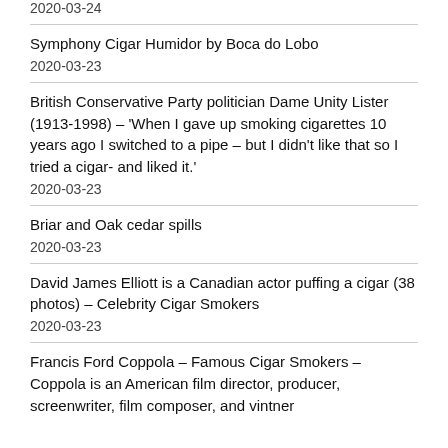2020-03-24
Symphony Cigar Humidor by Boca do Lobo
2020-03-23
British Conservative Party politician Dame Unity Lister (1913-1998) – 'When I gave up smoking cigarettes 10 years ago I switched to a pipe – but I didn't like that so I tried a cigar- and liked it.'
2020-03-23
Briar and Oak cedar spills
2020-03-23
David James Elliott is a Canadian actor puffing a cigar (38 photos) – Celebrity Cigar Smokers
2020-03-23
Francis Ford Coppola – Famous Cigar Smokers – Coppola is an American film director, producer, screenwriter, film composer, and vintner